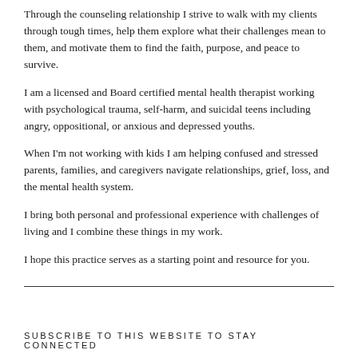Through the counseling relationship I strive to walk with my clients through tough times, help them explore what their challenges mean to them, and motivate them to find the faith, purpose, and peace to survive.
I am a licensed and Board certified mental health therapist working with psychological trauma, self-harm, and suicidal teens including angry, oppositional, or anxious and depressed youths.
When I'm not working with kids I am helping confused and stressed parents, families, and caregivers navigate relationships, grief, loss, and the mental health system.
I bring both personal and professional experience with challenges of living and I combine these things in my work.
I hope this practice serves as a starting point and resource for you.
SUBSCRIBE TO THIS WEBSITE TO STAY CONNECTED